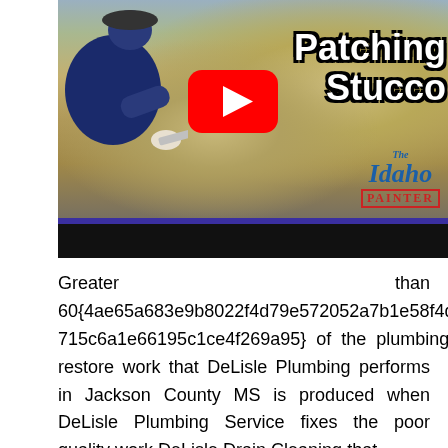[Figure (screenshot): YouTube video thumbnail showing a worker patching stucco on a wall. Title text reads 'Patching Stucco' in bold white letters with black outline. A red YouTube play button is centered. The Idaho Painter logo appears in the bottom right corner.]
Greater than 60{4ae65a683e9b8022f4d79e572052a7b1e58f4d5715c6a1e66195c1ce4f269a95} of the plumbing restore work that DeLisle Plumbing performs in Jackson County MS is produced when DeLisle Plumbing Service fixes the poor quality work DeLisle Drain Cleaning that